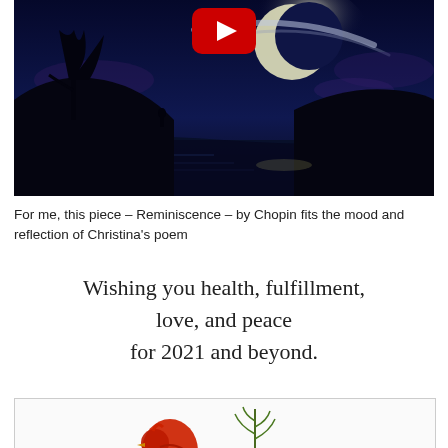[Figure (photo): A YouTube video thumbnail showing a nighttime scene with a silhouetted figure under a tree, a crescent moon and glowing arc in a dark blue sky, reflected in water below. A red YouTube play button is visible at the top center.]
For me, this piece – Reminiscence – by Chopin fits the mood and reflection of Christina's poem
Wishing you health, fulfillment, love, and peace for 2021 and beyond.
[Figure (illustration): Partial view of a red cardinal bird and green pine/holly branch illustration, cropped at bottom of page.]